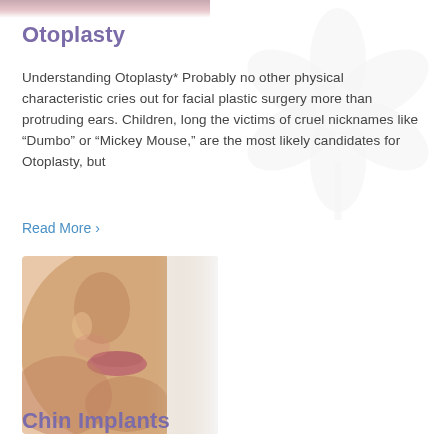[Figure (photo): Partial top cropped image of a face, skin tone background at top of page]
Otoplasty
Understanding Otoplasty* Probably no other physical characteristic cries out for facial plastic surgery more than protruding ears. Children, long the victims of cruel nicknames like “Dumbo” or “Mickey Mouse,” are the most likely candidates for Otoplasty, but
Read More ›
[Figure (photo): Close-up side profile photo of a woman's lower face and chin, showing nose, lips, and chin against white background]
Chin Implants